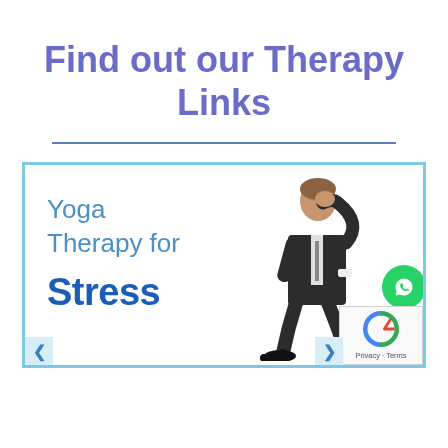Find out our Therapy Links
[Figure (illustration): Card with blue border showing 'Yoga Therapy for Stress' text on the left and a man in a business suit sitting with head in hands on the right, plus a green WhatsApp button and reCAPTCHA badge in the corner]